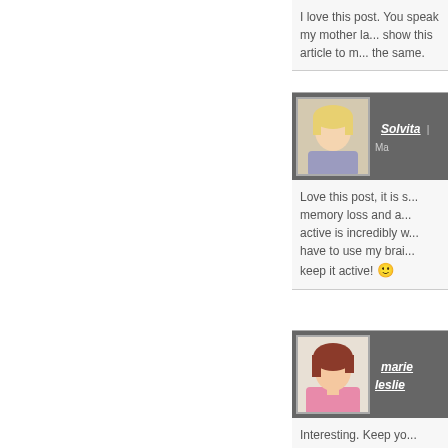I love this post. You speak my mother la... show this article to m... the same.
Solvita | Ma...
[Figure (photo): Avatar photo of Solvita, a woman with blonde hair]
Love this post, it is s... memory loss and a... active is incredibly w... have to use my brai... keep it active! 🙂
marie leslie
[Figure (photo): Avatar photo of marie leslie, a woman with brown/red hair]
Interesting. Keep yo...